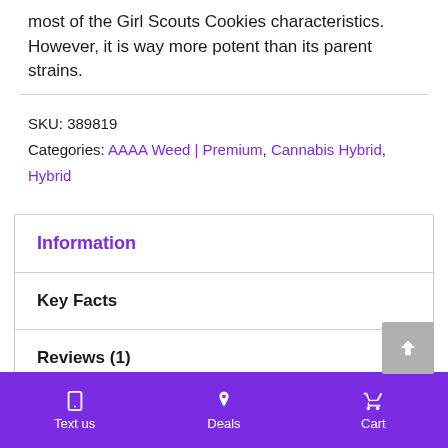most of the Girl Scouts Cookies characteristics. However, it is way more potent than its parent strains.
SKU: 389819
Categories: AAAA Weed | Premium, Cannabis Hybrid, Hybrid
Information
Key Facts
Reviews (1)
FAQ
Text us   Deals   Cart